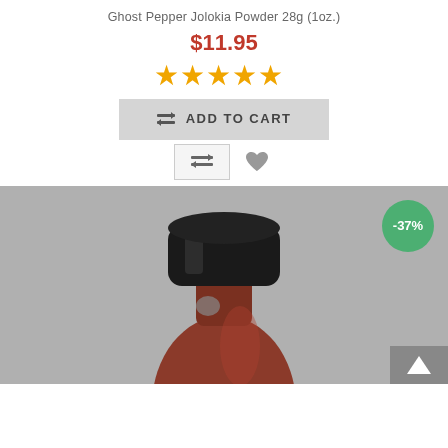Ghost Pepper Jolokia Powder 28g (1oz.)
$11.95
[Figure (other): Five orange star rating icons]
[Figure (other): Add to cart button with shopping cart icon]
[Figure (other): Compare and wishlist (heart) icons]
[Figure (photo): Close-up photo of a small bottle with a black cap containing reddish-brown ghost pepper powder, with a -37% discount badge in green circle at top right, and a back-to-top arrow button at bottom right]